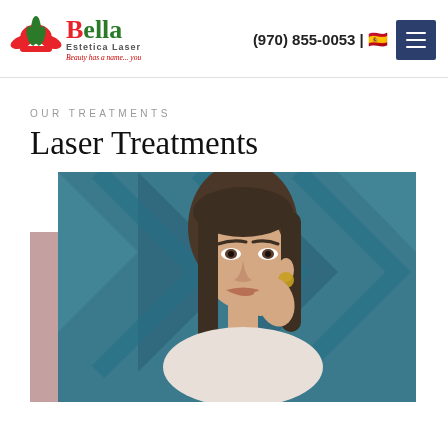[Figure (logo): Bella Estetica Laser logo with red flame/lotus icon, green and red typography, tagline 'Beauty has a name... you']
(970) 855-0053 | 🇪🇸
[Figure (other): Hamburger menu button in dark navy blue]
OUR TREATMENTS
Laser Treatments
[Figure (photo): Woman with straight brown hair touching her ear, wearing a gold earring, against a teal/blue geometric background. Pink/mauve decorative block on left side.]